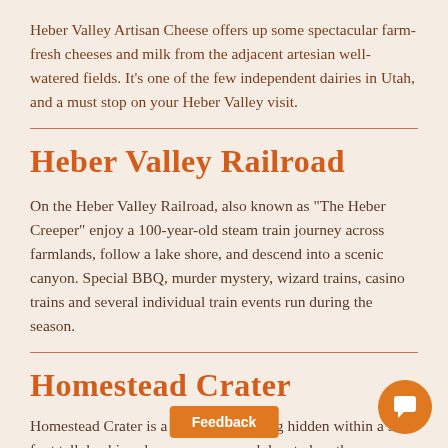Heber Valley Artisan Cheese offers up some spectacular farm-fresh cheeses and milk from the adjacent artesian well-watered fields. It's one of the few independent dairies in Utah, and a must stop on your Heber Valley visit.
Heber Valley Railroad
On the Heber Valley Railroad, also known as "The Heber Creeper" enjoy a 100-year-old steam train journey across farmlands, follow a lake shore, and descend into a scenic canyon. Special BBQ, murder mystery, wizard trains, casino trains and several individual train events run during the season.
Homestead Crater
Homestead Crater is a geothermal spring hidden within a 55 foot tall, beehive shaped limestone rock located on the